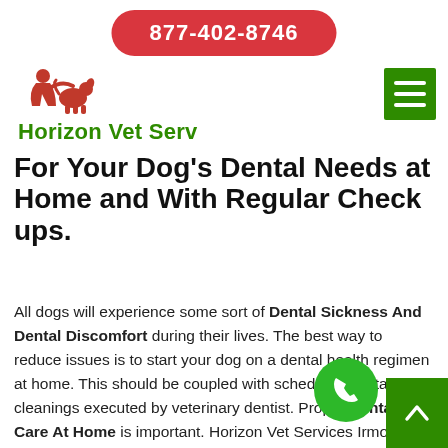877-402-8746
[Figure (logo): Horizon Vet Serv logo with silhouette of person with dog icon in red and green text]
For Your Dog's Dental Needs at Home and With Regular Check ups.
All dogs will experience some sort of Dental Sickness And Dental Discomfort during their lives. The best way to reduce issues is to start your dog on a dental health regimen at home. This should be coupled with scheduled dental cleanings executed by veterinary dentist. Proper Dental Care At Home is important. Horizon Vet Services Irmo are here to teach you how to brush your dog's teeth and provide you